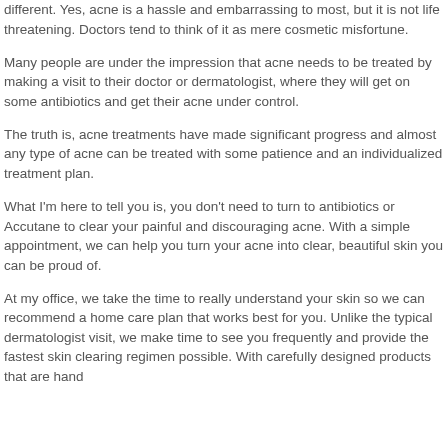different. Yes, acne is a hassle and embarrassing to most, but it is not life threatening. Doctors tend to think of it as mere cosmetic misfortune. Many people are under the impression that acne needs to be treated by making a visit to their doctor or dermatologist, where they will get on some antibiotics and get their acne under control. The truth is, acne treatments have made significant progress and almost any type of acne can be treated with some patience and an individualized treatment plan.
What I'm here to tell you is, you don't need to turn to antibiotics or Accutane to clear your painful and discouraging acne. With a simple appointment, we can help you turn your acne into clear, beautiful skin you can be proud of.
At my office, we take the time to really understand your skin so we can recommend a home care plan that works best for you. Unlike the typical dermatologist visit, we make time to see you frequently and provide the fastest skin clearing regimen possible. With carefully designed products that are hand